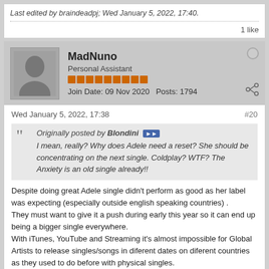Last edited by braindeadpj; Wed January 5, 2022, 17:40.
1 like
MadNuno
Personal Assistant
Join Date: 09 Nov 2020   Posts: 1794
Wed January 5, 2022, 17:38
#20
Originally posted by Blondini
I mean, really? Why does Adele need a reset? She should be concentrating on the next single. Coldplay? WTF? The Anxiety is an old single already!!
Despite doing great Adele single didn't perform as good as her label was expecting (especially outside english speaking countries) .
They must want to give it a push during early this year so it can end up being a bigger single everywhere.
With iTunes, YouTube and Streaming it's almost impossible for Global Artists to release singles/songs in diferent dates on diferent countries as they used to do before with physical singles.